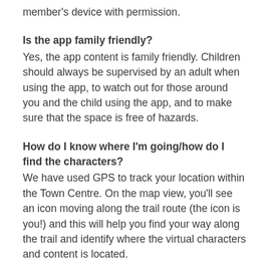member's device with permission.
Is the app family friendly?
Yes, the app content is family friendly. Children should always be supervised by an adult when using the app, to watch out for those around you and the child using the app, and to make sure that the space is free of hazards.
How do I know where I'm going/how do I find the characters?
We have used GPS to track your location within the Town Centre. On the map view, you'll see an icon moving along the trail route (the icon is you!) and this will help you find your way along the trail and identify where the virtual characters and content is located.
How do I use Augmented Reality?